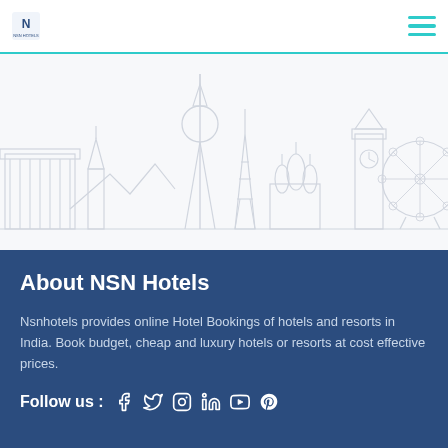NSN Hotels logo and navigation menu
[Figure (illustration): Line art skyline illustration of world landmarks including Eiffel Tower, Big Ben, St. Basil's Cathedral, Baiterek Monument, and a Ferris wheel on a light grey/white background]
About NSN Hotels
Nsnhotels provides online Hotel Bookings of hotels and resorts in India. Book budget, cheap and luxury hotels or resorts at cost effective prices.
Follow us :